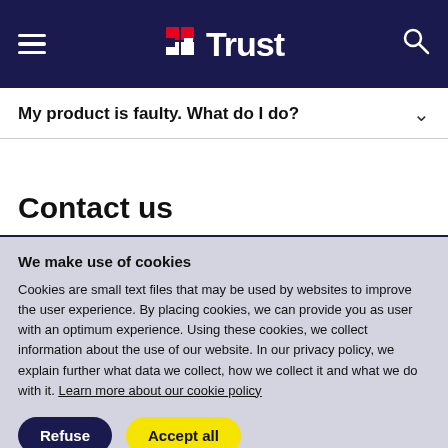Trust
My product is faulty. What do I do?
Contact us
We make use of cookies
Cookies are small text files that may be used by websites to improve the user experience. By placing cookies, we can provide you as user with an optimum experience. Using these cookies, we collect information about the use of our website. In our privacy policy, we explain further what data we collect, how we collect it and what we do with it. Learn more about our cookie policy
Refuse
Accept all
Cookie settings